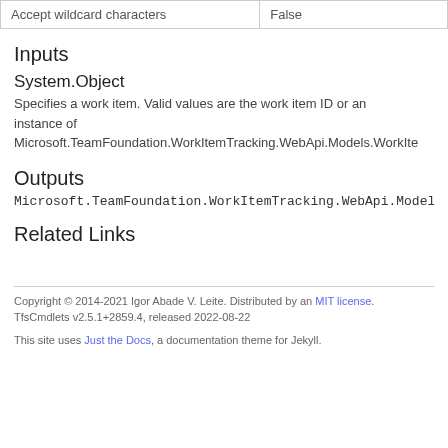| Accept wildcard characters | False |
Inputs
System.Object
Specifies a work item. Valid values are the work item ID or an instance of Microsoft.TeamFoundation.WorkItemTracking.WebApi.Models.WorkIte
Outputs
Microsoft.TeamFoundation.WorkItemTracking.WebApi.Models
Related Links
Copyright © 2014-2021 Igor Abade V. Leite. Distributed by an MIT license. TfsCmdlets v2.5.1+2859.4, released 2022-08-22
This site uses Just the Docs, a documentation theme for Jekyll.